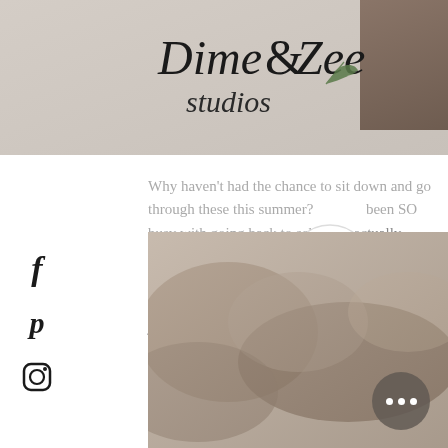[Figure (screenshot): Website header background — muted beige/gray photo area with brown photo box in top-right corner]
Dime & Zee Studios
[Figure (logo): Dime & Zee Studios logo with cursive script and leaf/fern illustration]
[Figure (infographic): Social media icons: Facebook (f), Pinterest (p), Instagram (camera icon)]
Why haven't had the chance to sit down and go through these this summer? been SO busy with going back to school. I actually just finished up my first semester of graduate school and feel like the past eight weeks have been such a whirlwind.
[Figure (photo): Blurred overhead or table-top photo, muted warm browns and tans, partially obscured by hamburger menu circle]
[Figure (other): Circular hamburger menu button with three horizontal lines]